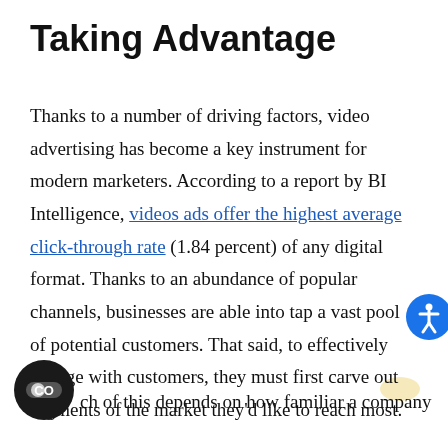Taking Advantage
Thanks to a number of driving factors, video advertising has become a key instrument for modern marketers. According to a report by BI Intelligence, videos ads offer the highest average click-through rate (1.84 percent) of any digital format. Thanks to an abundance of popular channels, businesses are able into tap a vast pool of potential customers. That said, to effectively engage with customers, they must first carve out segments of the market they’d like to reach most.
ch of this depends on how familiar a company